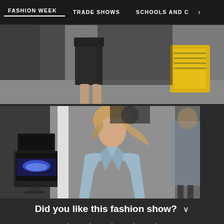FASHION WEEK   TRADE SHOWS   SCHOOLS AND C >
[Figure (photo): Fashion show runway photo showing model legs with black shorts and yellow bag, blurred background]
[Figure (photo): Fashion show runway photo showing a young blonde female model wearing a light blue blazer, with an old CRT TV visible on the left side of the runway and another model in a blue coat in the background]
Did you like this fashion show?
★ ★ ★ ★ ★